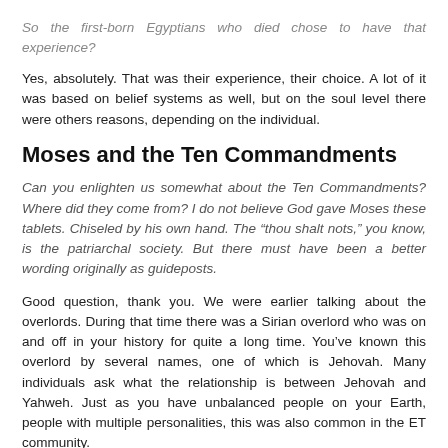So the first-born Egyptians who died chose to have that experience?
Yes, absolutely. That was their experience, their choice. A lot of it was based on belief systems as well, but on the soul level there were others reasons, depending on the individual.
Moses and the Ten Commandments
Can you enlighten us somewhat about the Ten Commandments? Where did they come from? I do not believe God gave Moses these tablets. Chiseled by his own hand. The “thou shalt nots,” you know, is the patriarchal society. But there must have been a better wording originally as guideposts.
Good question, thank you. We were earlier talking about the overlords. During that time there was a Sirian overlord who was on and off in your history for quite a long time. You’ve known this overlord by several names, one of which is Jehovah. Many individuals ask what the relationship is between Jehovah and Yahweh. Just as you have unbalanced people on your Earth, people with multiple personalities, this was also common in the ET community.